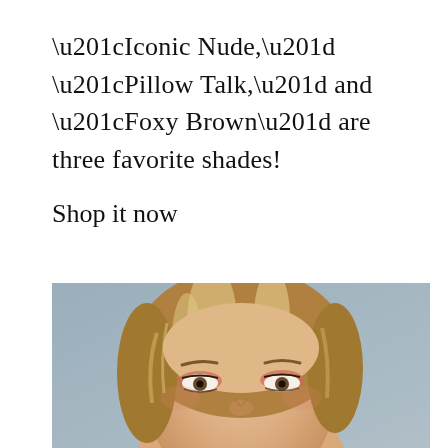“Iconic Nude,” “Pillow Talk,” and “Foxy Brown” are three favorite shades!
Shop it now
[Figure (photo): Close-up photo of a young blonde woman with coral/pink eye makeup, looking slightly downward. Her hair is loosely pulled back with some strands framing her face. The background is gray.]